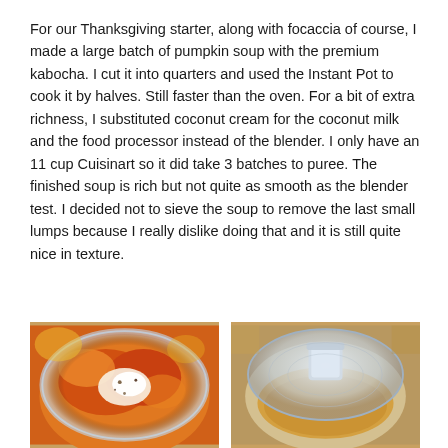For our Thanksgiving starter, along with focaccia of course, I made a large batch of pumpkin soup with the premium kabocha. I cut it into quarters and used the Instant Pot to cook it by halves. Still faster than the oven. For a bit of extra richness, I substituted coconut cream for the coconut milk and the food processor instead of the blender. I only have an 11 cup Cuisinart so it did take 3 batches to puree. The finished soup is rich but not quite as smooth as the blender test. I decided not to sieve the soup to remove the last small lumps because I really dislike doing that and it is still quite nice in texture.
[Figure (photo): Food processor bowl containing chunky pumpkin/squash puree with white cream or cheese and spices visible on top, viewed from above showing orange and yellow colors.]
[Figure (photo): Top-down view of a food processor lid/cover showing the clear plastic cover with a feed tube in the center, with some pureed soup visible around the edges inside the processor.]